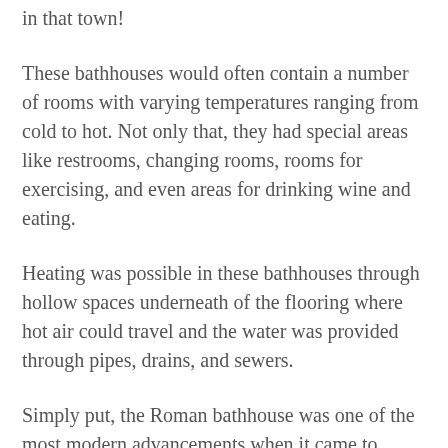in that town!
These bathhouses would often contain a number of rooms with varying temperatures ranging from cold to hot. Not only that, they had special areas like restrooms, changing rooms, rooms for exercising, and even areas for drinking wine and eating.
Heating was possible in these bathhouses through hollow spaces underneath of the flooring where hot air could travel and the water was provided through pipes, drains, and sewers.
Simply put, the Roman bathhouse was one of the most modern advancements when it came to bathing, socializing, and caring for one's